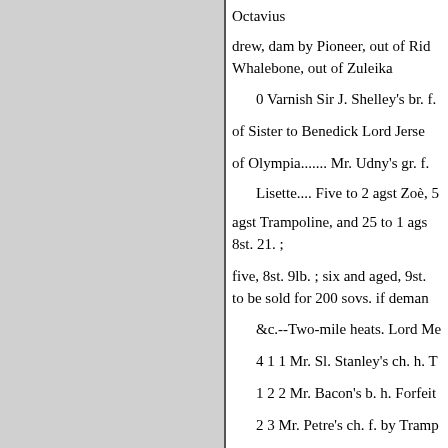Octavius
drew, dam by Pioneer, out of Rid Whalebone, out of Zuleika
0 Varnish Sir J. Shelley's br. f.
of Sister to Benedick Lord Jerse
of Olympia....... Mr. Udny's gr. f.
Lisette.... Five to 2 agst Zoè, 5
agst Trampoline, and 25 to 1 ags 8st. 21. ;
five, 8st. 9lb. ; six and aged, 9st. to be sold for 200 sovs. if deman
&c.--Two-mile heats. Lord Me
4 1 1 Mr. Sl. Stanley's ch. h. T
1 2 2 Mr. Bacon's b. h. Forfeit
2 3 Mr. Petre's ch. f. by Tramp
3 dr. Mr. Messer's bl. c. Whim
5 dr. The Woodcot PARK STA
for all ages.—The last half mile.
Resemblance, 5 aged, &st. 12lb